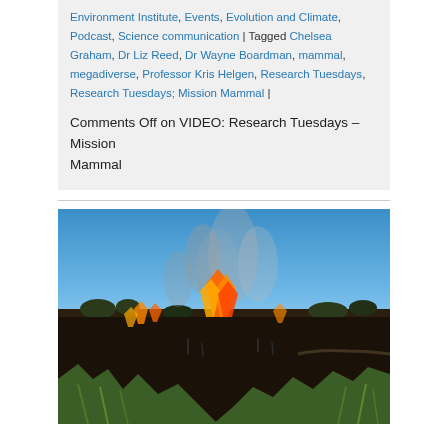Environment Institute, Events, Evolution and Climate, Podcast, Science communication | Tagged Chelsea Graham, Dr Liz Reed, Dr Wayne Boardman, mammal, megadiverse, Professor Kris Helgen, Research Tuesdays, Research Tuesdays; Mission Mammal |
Comments Off on VIDEO: Research Tuesdays – Mission Mammal
[Figure (photo): A grassland fire burning in an outdoor field under a blue sky, with orange flames and grey smoke rising, surrounding vegetation partially burnt and green grass visible in the foreground.]